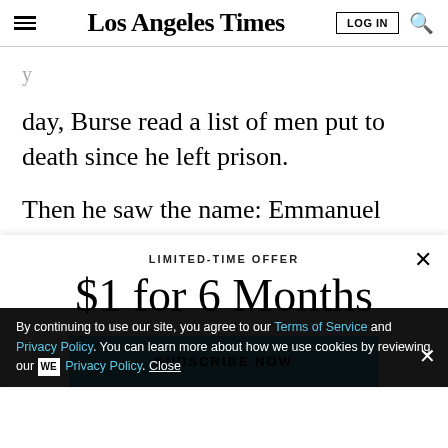Los Angeles Times
day, Burse read a list of men put to death since he left prison.
Then he saw the name: Emmanuel Fitzgerald Hammond. Tears welled
[Figure (screenshot): Subscription modal overlay with 'LIMITED-TIME OFFER', '$1 for 6 Months', and 'SUBSCRIBE NOW' button in blue]
By continuing to use our site, you agree to our Terms of Service and Privacy Policy. You can learn more about how we use cookies by reviewing our Privacy Policy. Close